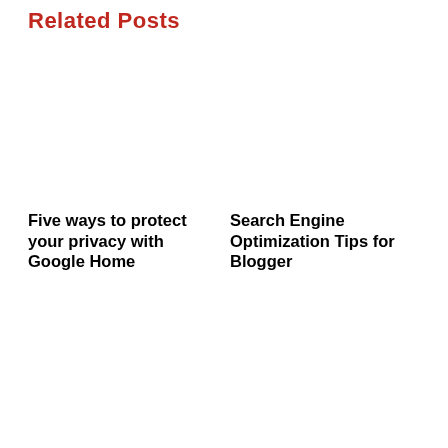Related Posts
Five ways to protect your privacy with Google Home
Search Engine Optimization Tips for Blogger